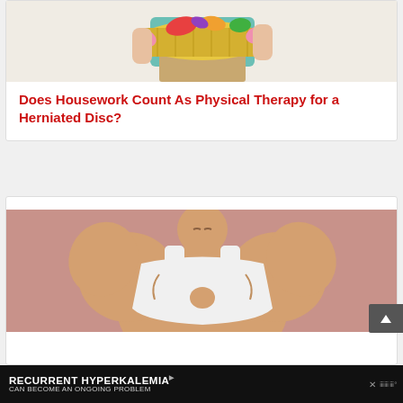[Figure (photo): Person holding a yellow laundry basket with colorful clothing, wearing a teal top and tan pants]
Does Housework Count As Physical Therapy for a Herniated Disc?
[Figure (illustration): Illustration of a muscular person in a white sports bra flexing, against a pink/mauve background]
[Figure (screenshot): Black advertisement banner reading RECURRENT HYPERKALEMIA CAN BECOME AN ONGOING PROBLEM with close and logo icons]